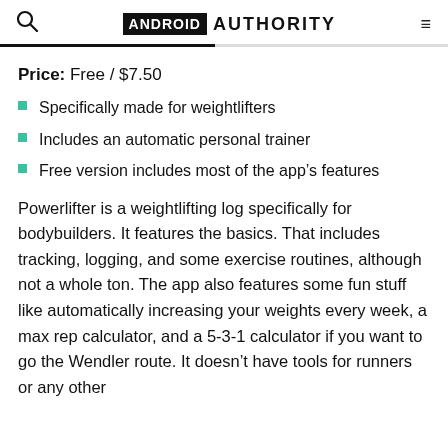ANDROID AUTHORITY
Price: Free / $7.50
Specifically made for weightlifters
Includes an automatic personal trainer
Free version includes most of the app's features
Powerlifter is a weightlifting log specifically for bodybuilders. It features the basics. That includes tracking, logging, and some exercise routines, although not a whole ton. The app also features some fun stuff like automatically increasing your weights every week, a max rep calculator, and a 5-3-1 calculator if you want to go the Wendler route. It doesn't have tools for runners or any other